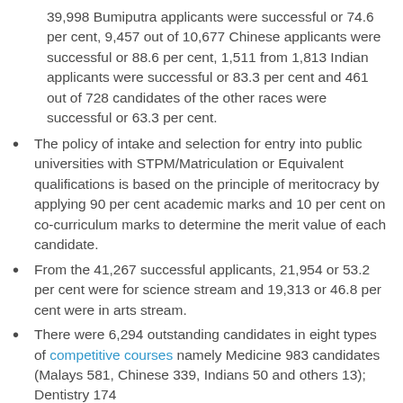39,998 Bumiputra applicants were successful or 74.6 per cent, 9,457 out of 10,677 Chinese applicants were successful or 88.6 per cent, 1,511 from 1,813 Indian applicants were successful or 83.3 per cent and 461 out of 728 candidates of the other races were successful or 63.3 per cent.
The policy of intake and selection for entry into public universities with STPM/Matriculation or Equivalent qualifications is based on the principle of meritocracy by applying 90 per cent academic marks and 10 per cent on co-curriculum marks to determine the merit value of each candidate.
From the 41,267 successful applicants, 21,954 or 53.2 per cent were for science stream and 19,313 or 46.8 per cent were in arts stream.
There were 6,294 outstanding candidates in eight types of competitive courses namely Medicine 983 candidates (Malays 581, Chinese 339, Indians 50 and others 13); Dentistry 174